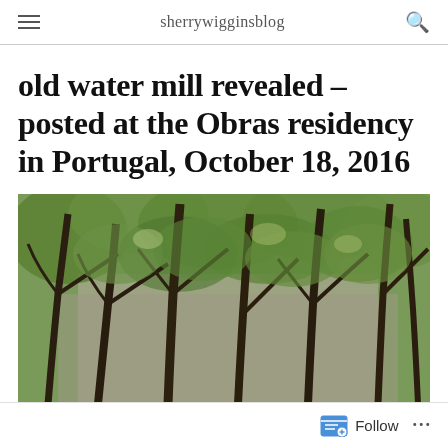sherrywigginsblog
old water mill revealed – posted at the Obras residency in Portugal, October 18, 2016
[Figure (photo): Photograph of trees with dark twisted branches and green leaves, with a stone wall or building partially visible behind them.]
Follow ...